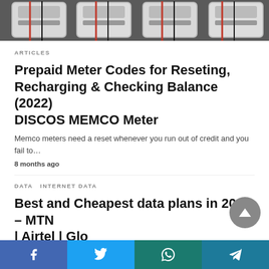[Figure (photo): Photograph of prepaid electricity meters with wiring]
ARTICLES
Prepaid Meter Codes for Reseting, Recharging & Checking Balance (2022) DISCOS MEMCO Meter
Memco meters need a reset whenever you run out of credit and you fail to…
8 months ago
DATA   INTERNET DATA
Best and Cheapest data plans in 2022 – MTN | Airtel | Glo
[ad_1] Cheap Data Plan: Airtel, MTN, GLO introduced a new format and mode that allows…